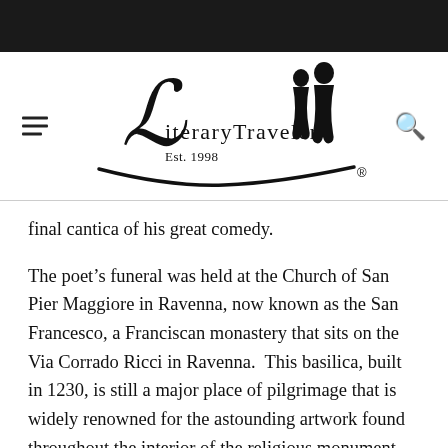[Figure (logo): Literary Traveler logo with two silhouetted figures standing on a curved boat/gondola shape, with stylized cursive 'L' and 'LiteraryTraveler' text, 'Est. 1998' below, and a registered trademark symbol.]
final cantica of his great comedy.
The poet's funeral was held at the Church of San Pier Maggiore in Ravenna, now known as the San Francesco, a Franciscan monastery that sits on the Via Corrado Ricci in Ravenna.  This basilica, built in 1230, is still a major place of pilgrimage that is widely renowned for the astounding artwork found throughout the interior of the religious monument.  The Renaissance structure boasts a dim, crypt-like church on the lower half that is lit by beautiful, relatively opaque stained-glass windows, some of which are as old as the church